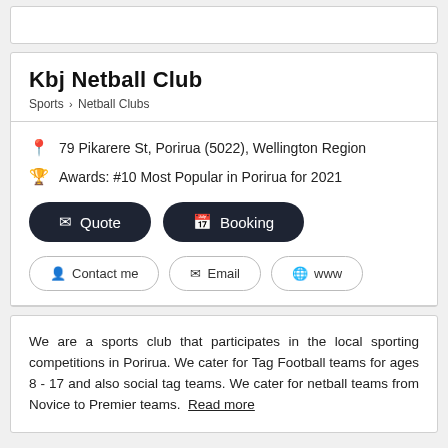Kbj Netball Club
Sports > Netball Clubs
79 Pikarere St, Porirua (5022), Wellington Region
Awards: #10 Most Popular in Porirua for 2021
Quote
Booking
Contact me
Email
www
We are a sports club that participates in the local sporting competitions in Porirua. We cater for Tag Football teams for ages 8 - 17 and also social tag teams. We cater for netball teams from Novice to Premier teams. Read more